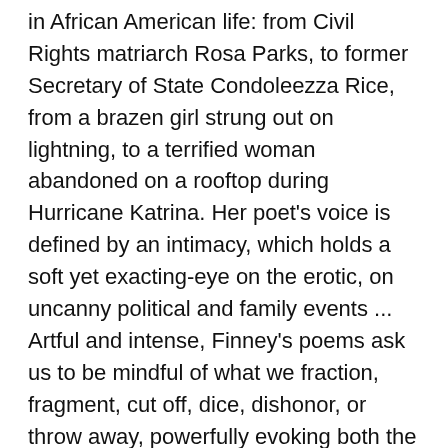in African American life: from Civil Rights matriarch Rosa Parks, to former Secretary of State Condoleezza Rice, from a brazen girl strung out on lightning, to a terrified woman abandoned on a rooftop during Hurricane Katrina. Her poet's voice is defined by an intimacy, which holds a soft yet exacting-eye on the erotic, on uncanny political and family events ... Artful and intense, Finney's poems ask us to be mindful of what we fraction, fragment, cut off, dice, dishonor, or throw away, powerfully evoking both the lawless and the sublime."
In an interview on the website Finney explains what she hopes readers take from her latest book of poetry.  "From this particular collection, I am hoping that the reader realizes we are standing at an incredible moment in time — a moment when so much of what we do and don't do matters," Finney said. "I believe more and more our beautiful language is being